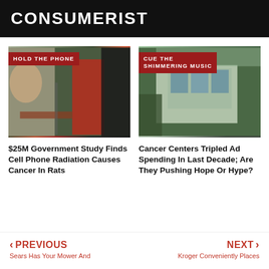CONSUMERIST
[Figure (photo): Man in red outfit talking on phone in urban setting with mural, tag: HOLD THE PHONE]
$25M Government Study Finds Cell Phone Radiation Causes Cancer In Rats
[Figure (photo): Modern glass and steel building exterior surrounded by trees, tag: CUE THE SHIMMERING MUSIC]
Cancer Centers Tripled Ad Spending In Last Decade; Are They Pushing Hope Or Hype?
< PREVIOUS
Sears Has Your Mower And
NEXT >
Kroger Conveniently Places